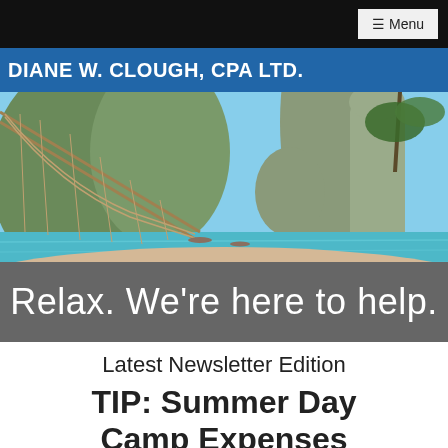≡ Menu
DIANE W. CLOUGH, CPA LTD.
[Figure (photo): A tropical beach scene with a rope hammock in the foreground, turquoise water, limestone rock formations, and green trees against a blue sky.]
Relax. We're here to help.
Latest Newsletter Edition
TIP: Summer Day Camp Expenses